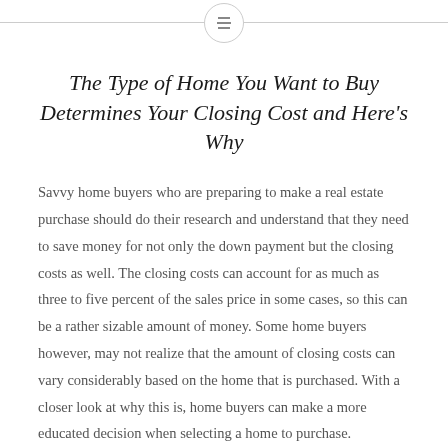[menu icon header]
The Type of Home You Want to Buy Determines Your Closing Cost and Here’s Why
Savvy home buyers who are preparing to make a real estate purchase should do their research and understand that they need to save money for not only the down payment but the closing costs as well. The closing costs can account for as much as three to five percent of the sales price in some cases, so this can be a rather sizable amount of money. Some home buyers however, may not realize that the amount of closing costs can vary considerably based on the home that is purchased. With a closer look at why this is, home buyers can make a more educated decision when selecting a home to purchase.